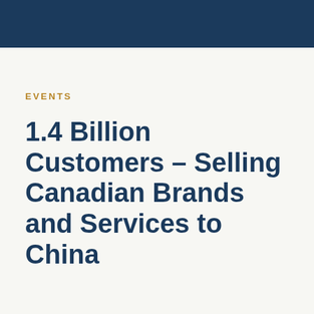EVENTS
1.4 Billion Customers – Selling Canadian Brands and Services to China